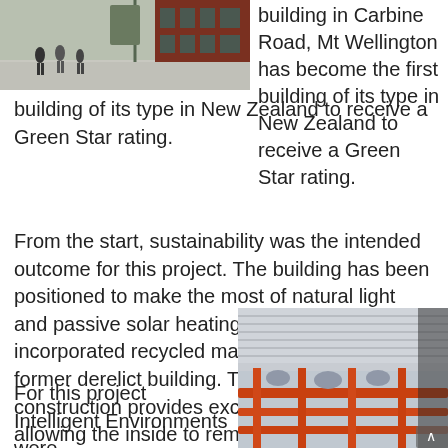[Figure (photo): Exterior photo of a building on Carbine Road, Mt Wellington, showing people walking in front]
building in Carbine Road, Mt Wellington has become the first building of its type in New Zealand to receive a Green Star rating.
From the start, sustainability was the intended outcome for this project. The building has been positioned to make the most of natural light and passive solar heating. The project incorporated recycled materials from the former derelict building. The concrete construction provides excellent thermal mass allowing the inside to remain cool in the summer, and warm in the winter.
For this project Intelligent Environments were
[Figure (photo): Interior photo showing industrial ceiling structure with orange steel beams and ductwork]